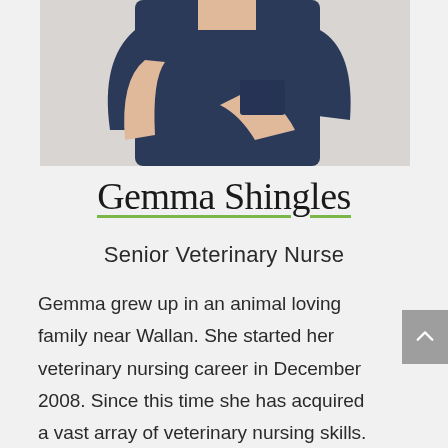[Figure (photo): Photo of Gemma Shingles wearing navy blue scrubs, upper body visible, light background]
Gemma Shingles
Senior Veterinary Nurse
Gemma grew up in an animal loving family near Wallan. She started her veterinary nursing career in December 2008. Since this time she has acquired a vast array of veterinary nursing skills. She has a much